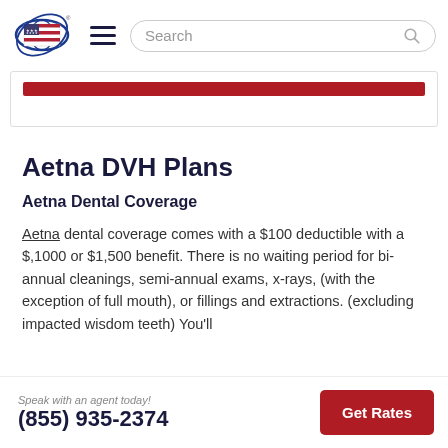Search
[Figure (other): Red horizontal banner bar inside a bordered card section]
Aetna DVH Plans
Aetna Dental Coverage
Aetna dental coverage comes with a $100 deductible with a $,1000 or $1,500 benefit. There is no waiting period for bi-annual cleanings, semi-annual exams, x-rays, (with the exception of full mouth), or fillings and extractions. (excluding impacted wisdom teeth) You'll
Speak with an agent today! (855) 935-2374   Get Rates